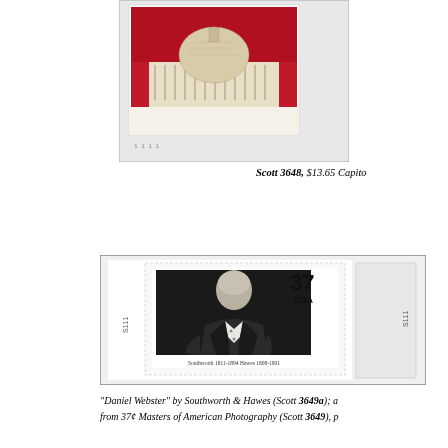[Figure (photo): US postage stamp Scott 3648, $13.65 Capitol dome stamp pane, top portion showing the stamp with Capitol building and red background]
Scott 3648, $13.65 Capito
[Figure (photo): US stamp pane showing 37 cent USA stamp with black and white portrait photograph of Daniel Webster by Southworth & Hawes, with plate number S111 on left margin]
"Daniel Webster" by Southworth & Hawes (Scott 3649a); ar from 37¢ Masters of American Photography (Scott 3649), pl